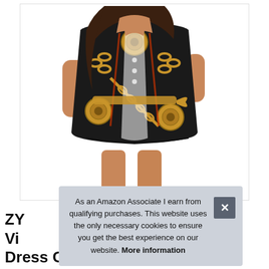[Figure (photo): Woman wearing a black, gold and white chain-print short shirt dress with a waist tie, 3/4 sleeves and buttons, shown from torso down against a white background inside a light border.]
As an Amazon Associate I earn from qualifying purchases. This website uses the only necessary cookies to ensure you get the best experience on our website. More information
ZY... Vi... Dress Casual Mini Dress